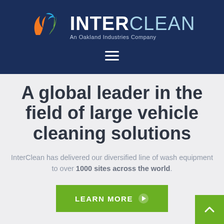[Figure (logo): InterClean logo with colorful leaf/flame icon and text 'INTERCLEAN An Oakland Industries Company' on navy background]
A global leader in the field of large vehicle cleaning solutions
InterClean has delivered our diversified line of wash equipment to over 1000 sites across the world.